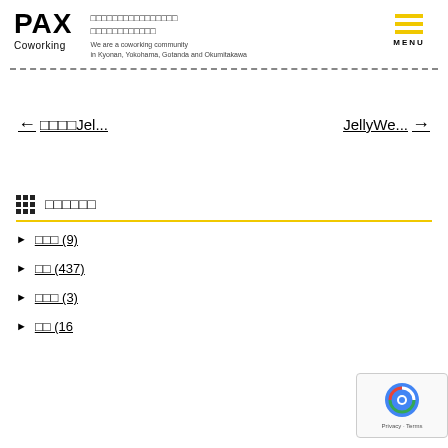PAX Coworking — We are a coworking community in Kyonan, Yokohama, Gotanda and Okumitakawa
← □□□□Jel...
JellyWe... →
□□□□□□
□□□ (9)
□□ (437)
□□□ (3)
□□ (16)